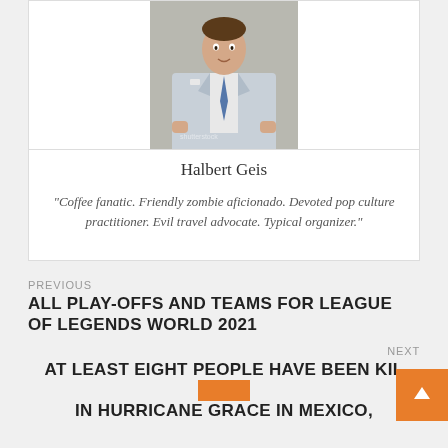[Figure (photo): Man in a light blue suit with a blue tie, standing against a beige background]
Halbert Geis
“Coffee fanatic. Friendly zombie aficionado. Devoted pop culture practitioner. Evil travel advocate. Typical organizer.”
PREVIOUS
ALL PLAY-OFFS AND TEAMS FOR LEAGUE OF LEGENDS WORLD 2021
NEXT
AT LEAST EIGHT PEOPLE HAVE BEEN KIL... IN HURRICANE GRACE IN MEXICO,